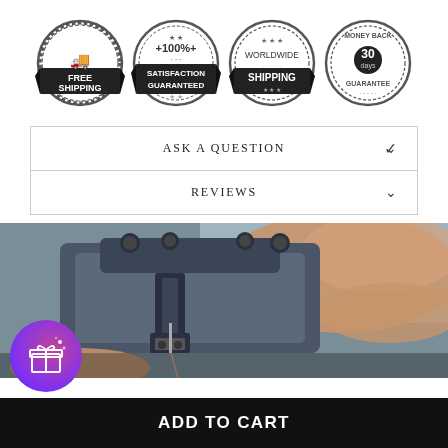[Figure (illustration): Four circular trust/badge icons: Free Shipping (truck icon), 100% Satisfaction Guaranteed, Worldwide Shipping (stars), Money Back 30 Days Guarantee]
ASK A QUESTION
REVIEWS
[Figure (illustration): Gift box icon on gradient purple/pink circular background with sparkles]
[Figure (photo): Close-up photo of a sewing machine needle area with thread, hands visible, dark metallic machine parts]
ADD TO CART